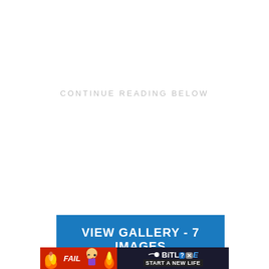CONTINUE READING BELOW
[Figure (other): Blue button with text 'VIEW GALLERY - 7 IMAGES']
[Figure (other): BitLife advertisement banner with 'FAIL' text, cartoon character, fire graphics, and 'START A NEW LIFE' tagline]